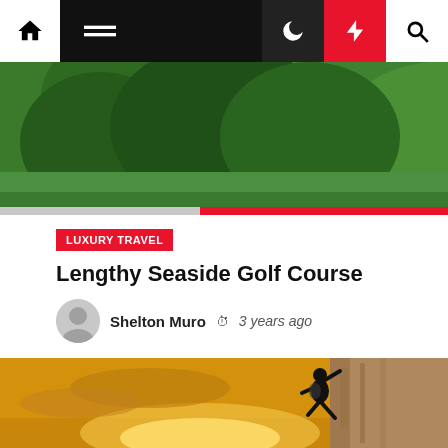[Figure (screenshot): Website navigation bar with home icon, hamburger menu, dark mode moon icon, red lightning bolt icon, and search icon]
[Figure (photo): Aerial/landscape photo of green trees and hillside, top portion of a golf course scene]
LUXURY TRAVEL
Lengthy Seaside Golf Course
Shelton Muro  3 years ago
[Figure (photo): Rock climber scaling a rocky cliff face against a golden sunset sky]